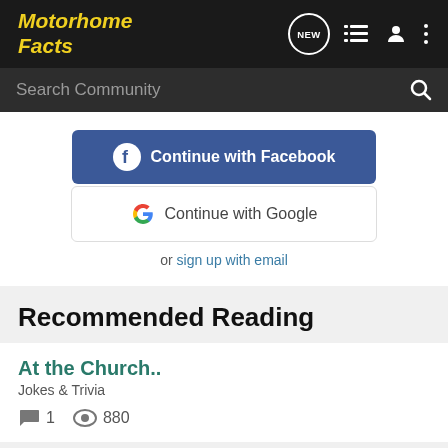Motorhome Facts
Search Community
[Figure (screenshot): Continue with Facebook button (blue)]
[Figure (screenshot): Continue with Google button (white)]
or sign up with email
Recommended Reading
At the Church..
Jokes & Trivia
1  880